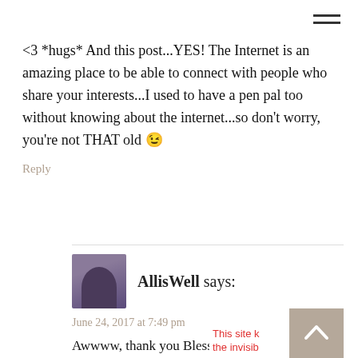<3 *hugs* And this post...YES! The Internet is an amazing place to be able to connect with people who share your interests...I used to have a pen pal too without knowing about the internet...so don't worry, you're not THAT old 😉
Reply
AllisWell says:
June 24, 2017 at 7:49 pm
Awwww, thank you Blessing!! 'returns hug gratefully' Every since we met, you have be... living up to your name and being a blessing...